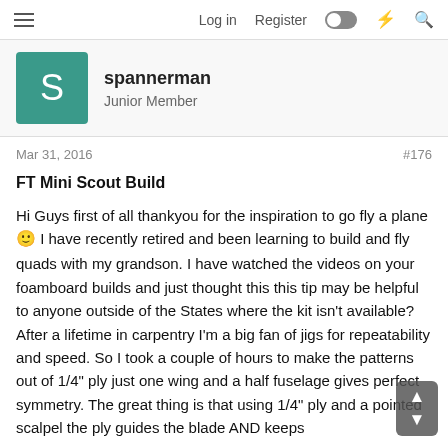Log in  Register
spannerman
Junior Member
Mar 31, 2016  #176
FT Mini Scout Build
Hi Guys first of all thankyou for the inspiration to go fly a plane 🙂 I have recently retired and been learning to build and fly quads with my grandson. I have watched the videos on your foamboard builds and just thought this this tip may be helpful to anyone outside of the States where the kit isn't available? After a lifetime in carpentry I'm a big fan of jigs for repeatability and speed. So I took a couple of hours to make the patterns out of 1/4" ply just one wing and a half fuselage gives perfect symmetry. The great thing is that using 1/4" ply and a pointed scalpel the ply guides the blade AND keeps